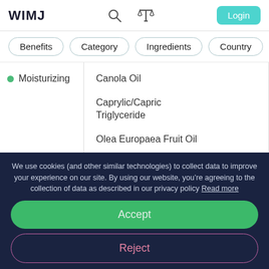WIMJ
Benefits
Category
Ingredients
Country
Moisturizing
Canola Oil
Caprylic/Capric Triglyceride
Olea Europaea Fruit Oil
Prunus Amygdalus Dulcis Seed
+3 more
We use cookies (and other similar technologies) to collect data to improve your experience on our site. By using our website, you’re agreeing to the collection of data as described in our privacy policy Read more
Accept
Reject